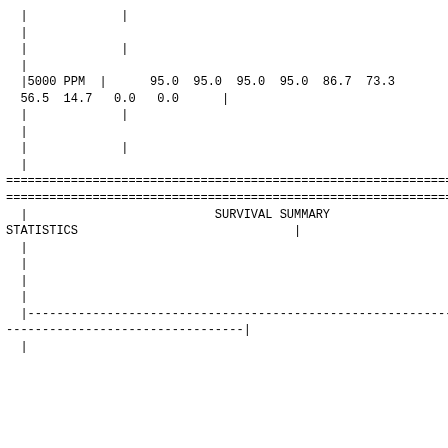|             |
  |
  |             |
  |
  |5000 PPM  |      95.0  95.0  95.0  95.0  86.7  73.3
  56.5  14.7   0.0   0.0      |
  |             |
  |
  |             |
  |
==================================================================
==================================================================
|                          SURVIVAL SUMMARY
STATISTICS                              |
  |
  |
  |
  |
  |------------------------------------------------------------
--------------------------------|
  |